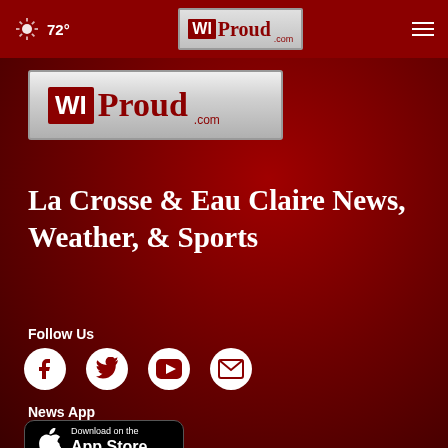72° WIProud.com navigation header
[Figure (logo): WIProud.com logo, large silver/gray background with red WI box and red Proud text]
La Crosse & Eau Claire News, Weather, & Sports
Follow Us
[Figure (infographic): Social media icons: Facebook, Twitter, YouTube, Email]
News App
[Figure (screenshot): Download on the App Store button]